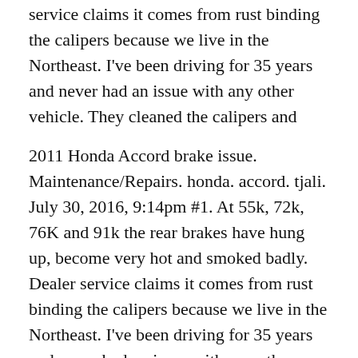service claims it comes from rust binding the calipers because we live in the Northeast. I've been driving for 35 years and never had an issue with any other vehicle. They cleaned the calipers and
2011 Honda Accord brake issue. Maintenance/Repairs. honda. accord. tjali. July 30, 2016, 9:14pm #1. At 55k, 72k, 76K and 91k the rear brakes have hung up, become very hot and smoked badly. Dealer service claims it comes from rust binding the calipers because we live in the Northeast. I've been driving for 35 years and never had an issue with any other vehicle. They cleaned the calipers and 2011 Honda Accord brake issue. Maintenance/Repairs. honda. accord. tjali. July 30, 2016, 9:14pm #1. At 55k, 72k,